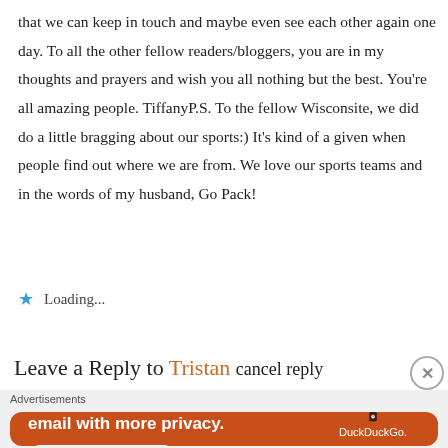that we can keep in touch and maybe even see each other again one day. To all the other fellow readers/bloggers, you are in my thoughts and prayers and wish you all nothing but the best. You're all amazing people. TiffanyP.S. To the fellow Wisconsite, we did do a little bragging about our sports:) It's kind of a given when people find out where we are from. We love our sports teams and in the words of my husband, Go Pack!
Loading...
Leave a Reply to Tristan cancel reply
[Figure (screenshot): DuckDuckGo advertisement banner: orange background with white text 'Search, browse, and email with more privacy. All in One Free App' and a phone image with DuckDuckGo logo]